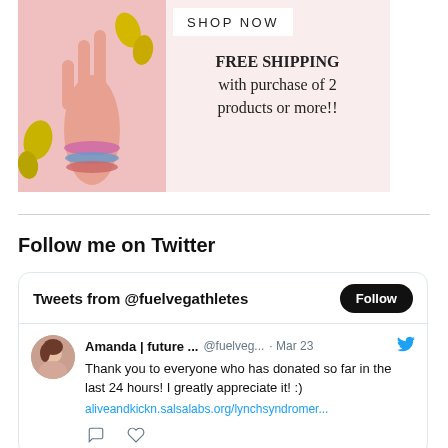[Figure (photo): Advertisement banner with a hand raised making a peace sign, wearing colorful bracelets, with yellow flowers. Pink background. Text: SHOP NOW and FREE SHIPPING with purchase of 2 products or more!!]
Follow me on Twitter
Tweets from @fuelvegathletes
Amanda | future ... @fuelveg... · Mar 23 Thank you to everyone who has donated so far in the last 24 hours! I greatly appreciate it! :) aliveandkickn.salsalabs.org/lynchsyndromer...